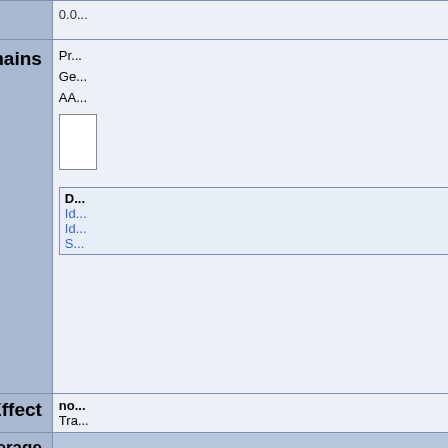| Field | Value |
| --- | --- |
|  | 0.0... |
| SMART Domains | Pr...
Ge...
AA...
[box]
D...
Id...
Id...
S... |
| Predicted Effect | no...
Tra... |
| Coding Region Coverage |  |
| Validation Efficiency |  |
| Allele List at MGI |  |
| Other mutations in this stock | T... |